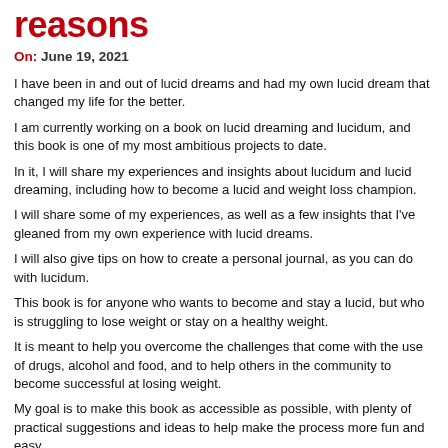reasons
On: June 19, 2021
I have been in and out of lucid dreams and had my own lucid dream that changed my life for the better.
I am currently working on a book on lucid dreaming and lucidum, and this book is one of my most ambitious projects to date.
In it, I will share my experiences and insights about lucidum and lucid dreaming, including how to become a lucid and weight loss champion.
I will share some of my experiences, as well as a few insights that I've gleaned from my own experience with lucid dreams.
I will also give tips on how to create a personal journal, as you can do with lucidum.
This book is for anyone who wants to become and stay a lucid, but who is struggling to lose weight or stay on a healthy weight.
It is meant to help you overcome the challenges that come with the use of drugs, alcohol and food, and to help others in the community to become successful at losing weight.
My goal is to make this book as accessible as possible, with plenty of practical suggestions and ideas to help make the process more fun and easy.
This is a book that has always been in my mind, but I did not know how